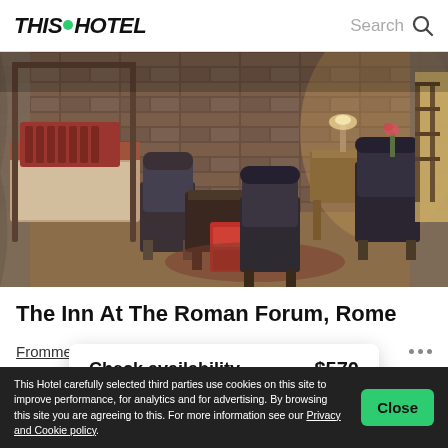THIS HOTEL | Search
[Figure (photo): Interior photo of a luxury hotel room at The Inn At The Roman Forum, Rome. The room features antique-style dark wood furniture, canopied beds, ornate chairs, a red chest/coffee table, Persian rugs, and stone walls with warm ambient lighting.]
The Inn At The Roman Forum, Rome
Frommers + 1 more
“The na... d down a medie... h the forums of several Roman emperors as neighbors. Its
Check availability   $570
This Hotel carefully selected third parties use cookies on this site to improve performance, for analytics and for advertising. By browsing this site you are agreeing to this. For more information see our Privacy and Cookie policy.